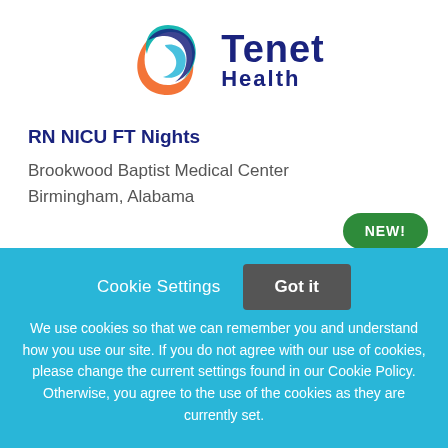[Figure (logo): Tenet Health logo with circular swoosh graphic in blue, teal, and orange, with bold navy text reading 'Tenet Health']
RN NICU FT Nights
Brookwood Baptist Medical Center
Birmingham, Alabama
NEW!
Cookie Settings   Got it
We use cookies so that we can remember you and understand how you use our site. If you do not agree with our use of cookies, please change the current settings found in our Cookie Policy. Otherwise, you agree to the use of the cookies as they are currently set.